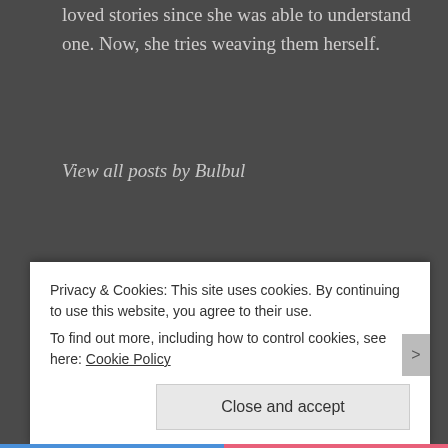loved stories since she was able to understand one. Now, she tries weaving them herself.
View all posts by Bulbul
Previous Post
Armor
Next Post
Privacy & Cookies: This site uses cookies. By continuing to use this website, you agree to their use.
To find out more, including how to control cookies, see here: Cookie Policy
Close and accept